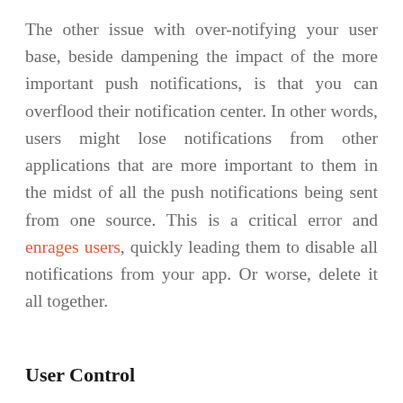The other issue with over-notifying your user base, beside dampening the impact of the more important push notifications, is that you can overflood their notification center. In other words, users might lose notifications from other applications that are more important to them in the midst of all the push notifications being sent from one source. This is a critical error and enrages users, quickly leading them to disable all notifications from your app. Or worse, delete it all together.
User Control